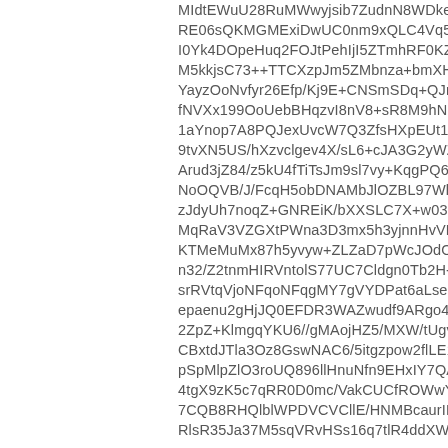MIdtEWuU28RuMWwyjsib7ZudnN8WDkeim5iGRRE06sQKMGMExiDwUC0nm9xQLC4Vq52WuRJkSI0Yk4DOpeHuq2FOJtPehIjI5ZTmhRF0KZpQo4ewlM5kkjsC73++TTCXzpJm5ZMbnza+bmXHzLFjkvd7jFYayzOoNvfyr26Efp/Kj9E+CNSmSDq+QJmH0K9o/fNVXx199OoUebBHqzvI8nV8+sR8M9hN1xyS0H+r1aYnop7A8PQJexUvcW7Q3ZfsHXpEUt19geedVCJt9tvXN5US/hXzvclgev4X/sL6+cJA3G2yWZWAu9rArud3jZ84/z5kU4fTiTsJm9sl7vy+KqgPQ6UZjnhjzNoOQVB/J/FcqH5obDNAMbJlOZBL97Wk6tml8rzJdyUh7noqZ+GNREiK/bXXSLC7X+w03pLMusEy+MqRaV3VZGXtPWna3D3mx5h3yjnnHvVPeh0lD3pKTMeMuMx87h5yvyw+ZLZaD7pWcJOdOGr1n2ZzIn32/Z2tnmHIRVntolS77UC7Cldgn0Tb2H+tcxDtCd'srRVtqVjoNFqoNFqgMY7gVYDPat6aLseCig9FFB6epaenu2gHjJQ0EFDR3WAZwudf9ARgo47qAoDT2ZpZ+KlmgqYKU6//gMAojHZ5/MXW/tUgvimrNrCBxtdJTla3Oz8GswNAC6/5itgzpow2flLE1fojLeosl pSpMlpZlO3roUQ896llHnuNfn9EHxIY7QAmE4g54tgX9zK5c7qRR0D0mc/VakCUCfROWwY3D7+AB7CQB8RHQlblWPDVCVCllE/HNMBcaurIRFplRjM:RlsR35Ja37M5sqVRvHSs16q7tlR4ddXWbfRb1JxZl